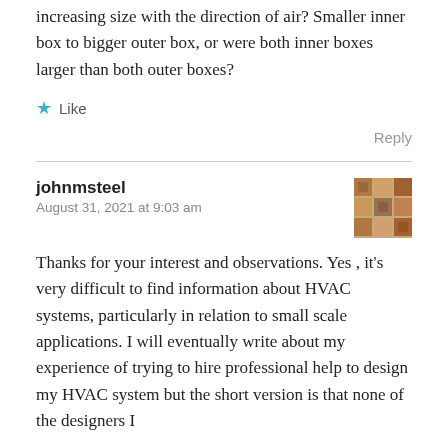increasing size with the direction of air? Smaller inner box to bigger outer box, or were both inner boxes larger than both outer boxes?
★ Like
Reply
johnmsteel
August 31, 2021 at 9:03 am
[Figure (photo): Small avatar photo of user johnmsteel, showing a brick wall or similar outdoor scene]
Thanks for your interest and observations. Yes , it's very difficult to find information about HVAC systems, particularly in relation to small scale applications. I will eventually write about my experience of trying to hire professional help to design my HVAC system but the short version is that none of the designers I